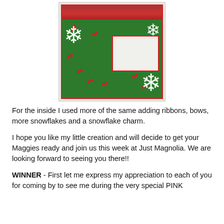[Figure (photo): Inside of a handmade Christmas card with holly patterned paper, snowflake embellishments, ribbons and a white message box]
For the inside I used more of the same adding ribbons, bows, more snowflakes and a snowflake charm.
I hope you like my little creation and will decide to get your Maggies ready and join us this week at Just Magnolia. We are looking forward to seeing you there!!
WINNER - First let me express my appreciation to each of you for coming by to see me during the very special PINK